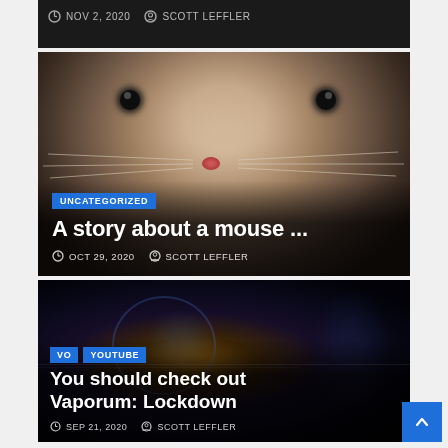[Figure (photo): Partial top of a blog card with dark background showing date and author metadata: NOV 2, 2020 and SCOTT LEFFLER]
NOV 2, 2020   SCOTT LEFFLER
[Figure (photo): Close-up photo of a mouse/hamster face with large dark eyes and pink nose on beige background. Blog card with UNCATEGORIZED badge, title 'A story about a mouse ...', date OCT 29, 2020, author SCOTT LEFFLER]
UNCATEGORIZED
A story about a mouse ...
OCT 29, 2020   SCOTT LEFFLER
[Figure (photo): Dark sci-fi / fantasy game screenshot with glowing blue and orange elements for Vaporum: Lockdown. Blog card with VO and YOUTUBE badges, title 'You should check out Vaporum: Lockdown', date SEP 21, 2020, author SCOTT LEFFLER]
VO  YOUTUBE
You should check out Vaporum: Lockdown
SEP 21, 2020   SCOTT LEFFLER